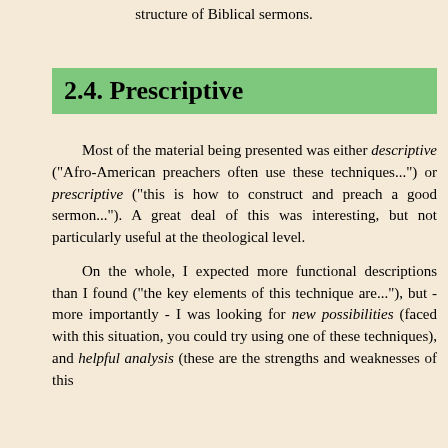structure of Biblical sermons.
2.4. Prescriptive
Most of the material being presented was either descriptive ("Afro-American preachers often use these techniques...") or prescriptive ("this is how to construct and preach a good sermon..."). A great deal of this was interesting, but not particularly useful at the theological level.
On the whole, I expected more functional descriptions than I found ("the key elements of this technique are..."), but - more importantly - I was looking for new possibilities (faced with this situation, you could try using one of these techniques), and helpful analysis (these are the strengths and weaknesses of this